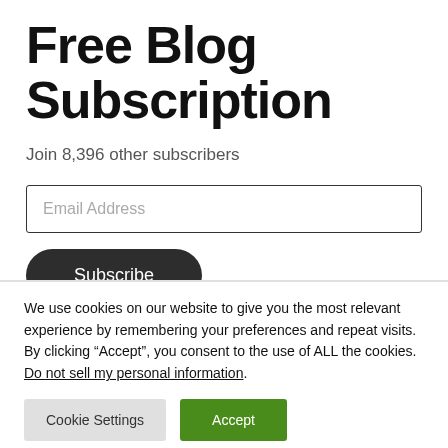Free Blog Subscription
Join 8,396 other subscribers
Email Address
Subscribe
We use cookies on our website to give you the most relevant experience by remembering your preferences and repeat visits. By clicking “Accept”, you consent to the use of ALL the cookies. Do not sell my personal information.
Cookie Settings
Accept